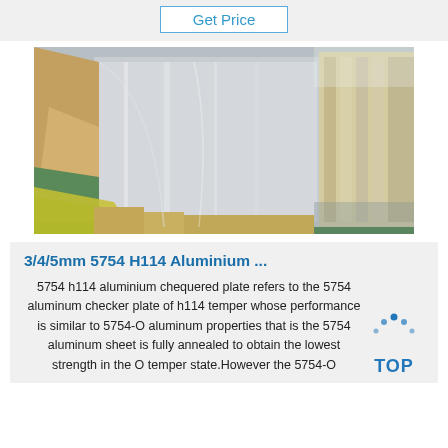Get Price
[Figure (photo): Aluminium checker plates stacked and wrapped in protective yellow/brown packaging material in a warehouse setting]
3/4/5mm 5754 H114 Aluminium ...
5754 h114 aluminium chequered plate refers to the 5754 aluminum checker plate of h114 temper whose performance is similar to 5754-O aluminum properties that is the 5754 aluminum sheet is fully annealed to obtain the lowest strength in the O temper state.However the 5754-O